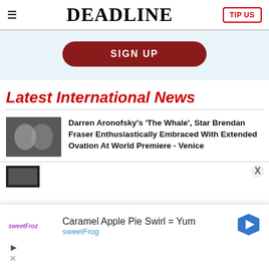DEADLINE | TIP US
[Figure (screenshot): Sign up button on light blue banner]
Latest International News
[Figure (photo): Two men in tuxedos at formal event]
Darren Aronofsky's 'The Whale', Star Brendan Fraser Enthusiastically Embraced With Extended Ovation At World Premiere - Venice
[Figure (screenshot): Partial thumbnail of another article at bottom]
[Figure (other): Advertisement overlay: Caramel Apple Pie Swirl = Yum, sweetFrog]